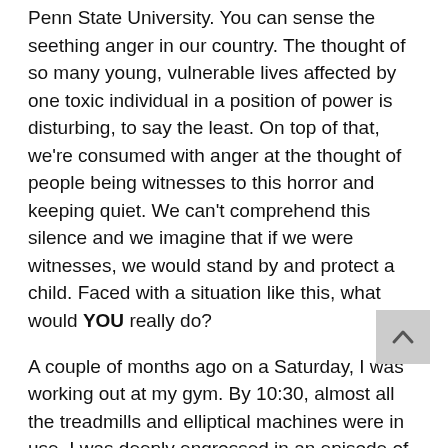Penn State University. You can sense the seething anger in our country. The thought of so many young, vulnerable lives affected by one toxic individual in a position of power is disturbing, to say the least. On top of that, we're consumed with anger at the thought of people being witnesses to this horror and keeping quiet. We can't comprehend this silence and we imagine that if we were witnesses, we would stand by and protect a child. Faced with a situation like this, what would YOU really do?
A couple of months ago on a Saturday, I was working out at my gym. By 10:30, almost all the treadmills and elliptical machines were in use. I was deeply engrossed in an episode of Bonanza and was halfway through my workout when I heard something going on in the background. I felt compelled to take off my headphones and listen.
As I scanned the front desk, I immediately noticed that no one was up there. My eyes followed the “noise” in the gym until I stopped at a man and woman standing near the vacant front